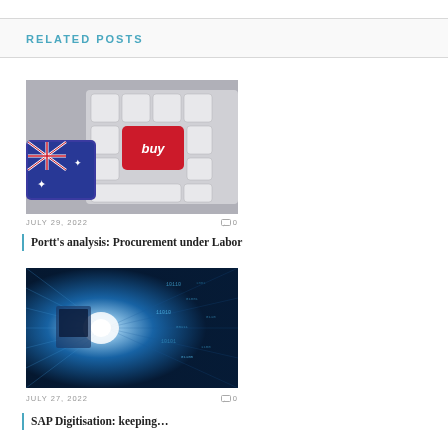RELATED POSTS
[Figure (photo): Keyboard with Australian flag key and red 'buy' button]
JULY 29, 2022   0
Portt's analysis: Procurement under Labor
[Figure (photo): Digital technology tunnel with glowing blue light]
JULY 27, 2022   0
SAP Digitisation: keeping...